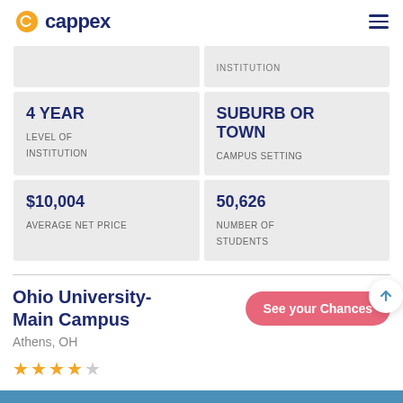cappex
|  | INSTITUTION |
| --- | --- |
| 4 YEAR
LEVEL OF INSTITUTION | SUBURB OR TOWN
CAMPUS SETTING |
| $10,004
AVERAGE NET PRICE | 50,626
NUMBER OF STUDENTS |
Ohio University-Main Campus
Athens, OH
See your Chances
★★★★☆